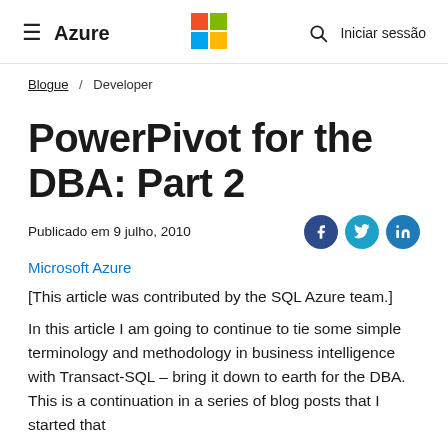Azure — Microsoft Azure (navigation bar with hamburger menu, Microsoft logo, search icon, Iniciar sessão)
Blogue / Developer
PowerPivot for the DBA: Part 2
Publicado em 9 julho, 2010
Microsoft Azure
[This article was contributed by the SQL Azure team.]
In this article I am going to continue to tie some simple terminology and methodology in business intelligence with Transact-SQL – bring it down to earth for the DBA. This is a continuation in a series of blog posts that I started that